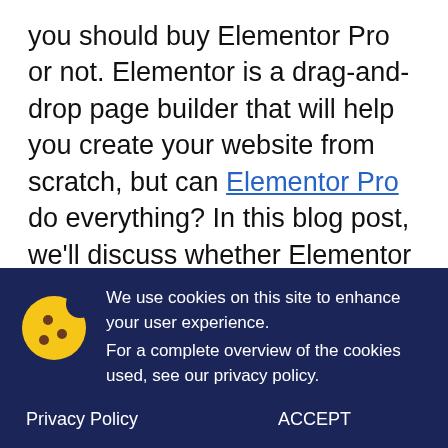you should buy Elementor Pro or not. Elementor is a drag-and-drop page builder that will help you create your website from scratch, but can Elementor Pro do everything? In this blog post, we'll discuss whether Elementor Pro is worth the price or not.
We use cookies on this site to enhance your user experience.
For a complete overview of the cookies used, see our privacy policy.
Privacy Policy
ACCEPT